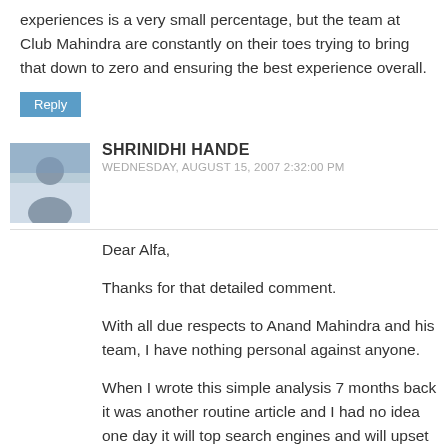experiences is a very small percentage, but the team at Club Mahindra are constantly on their toes trying to bring that down to zero and ensuring the best experience overall.
Reply
SHRINIDHI HANDE
WEDNESDAY, AUGUST 15, 2007 2:32:00 PM
Dear Alfa,
Thanks for that detailed comment.
With all due respects to Anand Mahindra and his team, I have nothing personal against anyone.
When I wrote this simple analysis 7 months back it was another routine article and I had no idea one day it will top search engines and will upset some people who are quite happy with CM.
Let me belive that CM team is trying hard towards 100% customer satisfaction: My question is, why cant they provide me with some minimum assurance?